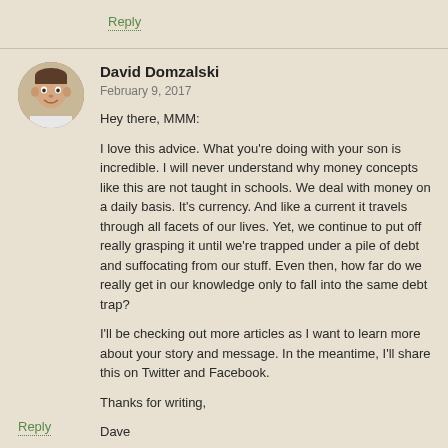Reply
David Domzalski
February 9, 2017
Hey there, MMM:

I love this advice. What you're doing with your son is incredible. I will never understand why money concepts like this are not taught in schools. We deal with money on a daily basis. It's currency. And like a current it travels through all facets of our lives. Yet, we continue to put off really grasping it until we're trapped under a pile of debt and suffocating from our stuff. Even then, how far do we really get in our knowledge only to fall into the same debt trap?

I'll be checking out more articles as I want to learn more about your story and message. In the meantime, I'll share this on Twitter and Facebook.

Thanks for writing,

Dave
Reply